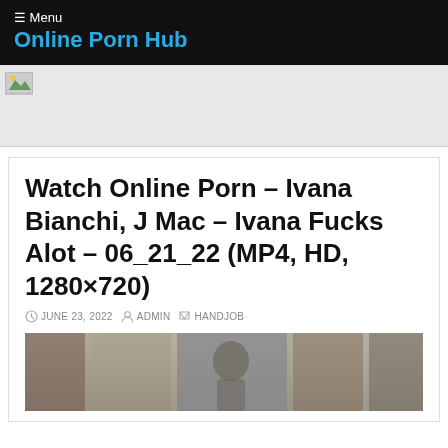☰ Menu
Online Porn Hub
[Figure (other): Advertisement banner placeholder image]
Watch Online Porn – Ivana Bianchi, J Mac – Ivana Fucks Alot – 06_21_22 (MP4, HD, 1280×720)
JUNE 23, 2022   ADMIN   HANDJOB
[Figure (photo): Partial thumbnail of video content at bottom of page]